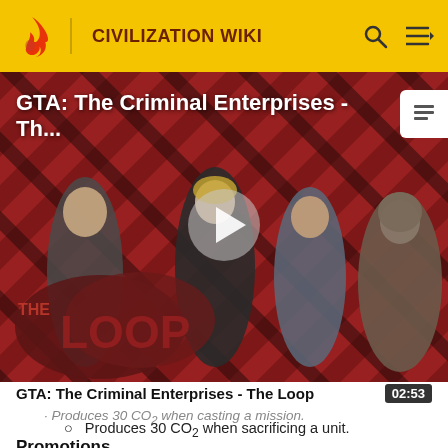CIVILIZATION WIKI
[Figure (screenshot): Video thumbnail for 'GTA: The Criminal Enterprises - The Loop' showing game characters on a red diagonal striped background with The Loop logo and a play button overlay.]
GTA: The Criminal Enterprises - The Loop
02:53
Produces 30 CO2 when casting a mission.
Produces 30 CO2 when sacrificing a unit.
Promotions
Soothsayers get one random promotion by getting a Gold...